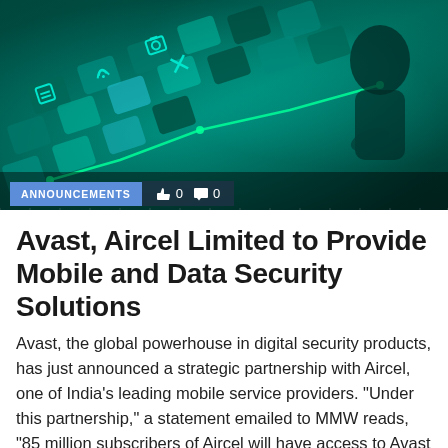[Figure (photo): Hero image showing a glowing green digital/mobile interface with app icons on a touchscreen keyboard, with a person's silhouette in the background, teal/green color scheme. Overlay bar at bottom shows 'ANNOUNCEMENTS' tag in blue, and like/comment counts (0 each) in dark overlay.]
Avast, Aircel Limited to Provide Mobile and Data Security Solutions
Avast, the global powerhouse in digital security products, has just announced a strategic partnership with Aircel, one of India’s leading mobile service providers. “Under this partnership,” a statement emailed to MMW reads, “85 million subscribers of Aircel will have access to Avast Mobile Security and…